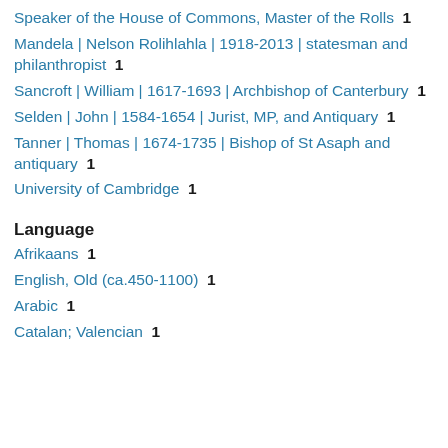Speaker of the House of Commons, Master of the Rolls  1
Mandela | Nelson Rolihlahla | 1918-2013 | statesman and philanthropist  1
Sancroft | William | 1617-1693 | Archbishop of Canterbury  1
Selden | John | 1584-1654 | Jurist, MP, and Antiquary  1
Tanner | Thomas | 1674-1735 | Bishop of St Asaph and antiquary  1
University of Cambridge  1
Language
Afrikaans  1
English, Old (ca.450-1100)  1
Arabic  1
Catalan; Valencian  1